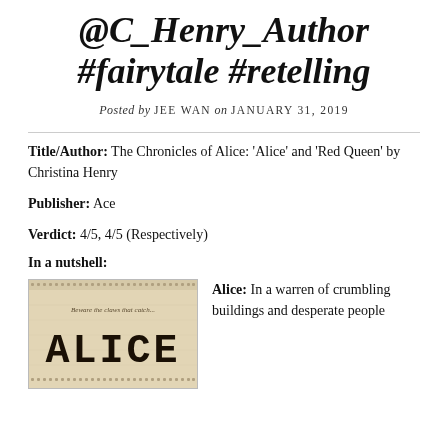@C_Henry_Author #fairytale #retelling
Posted by JEE WAN on JANUARY 31, 2019
Title/Author: The Chronicles of Alice: 'Alice' and 'Red Queen' by Christina Henry
Publisher: Ace
Verdict: 4/5, 4/5 (Respectively)
In a nutshell:
[Figure (photo): Book cover of 'Alice' by Christina Henry with vintage parchment background, decorative dotted border, tagline 'Beware the claws that catch...' and large block-letter title ALICE]
Alice: In a warren of crumbling buildings and desperate people